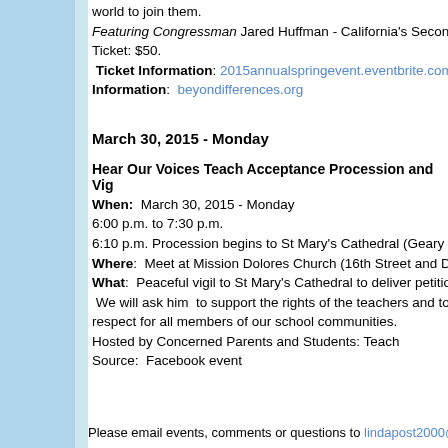world to join them.
Featuring Congressman Jared Huffman - California's Second...
Ticket: $50.
Ticket Information: 2015annualspringevent.eventbrite.com
Information: beyondifferences.org
March 30, 2015 - Monday
Hear Our Voices Teach Acceptance Procession and Vig
When: March 30, 2015 - Monday
6:00 p.m. to 7:30 p.m.
6:10 p.m. Procession begins to St Mary's Cathedral (Geary
Where: Meet at Mission Dolores Church (16th Street and D
What: Peaceful vigil to St Mary's Cathedral to deliver petitio
We will ask him to support the rights of the teachers and to
respect for all members of our school communities.
Hosted by Concerned Parents and Students: Teach
Source: Facebook event
Please email events, comments or questions to lindapost2000@